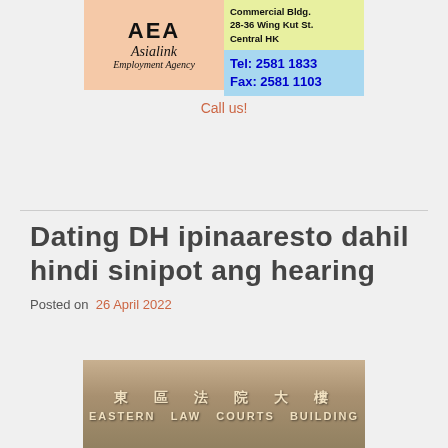[Figure (infographic): AEA Asialink Employment Agency advertisement. Logo on peach/salmon background on left, address on yellow-green background top right, phone/fax on light blue background bottom right. Address: Commercial Bldg. 28-36 Wing Kut St. Central HK. Tel: 2581 1833. Fax: 2581 1103.]
Call us!
Dating DH ipinaaresto dahil hindi sinipot ang hearing
Posted on  26 April 2022
[Figure (photo): Photo of Eastern Law Courts Building sign with Chinese characters 東區法院大樓 and English text EASTERN LAW COURTS BUILDING]